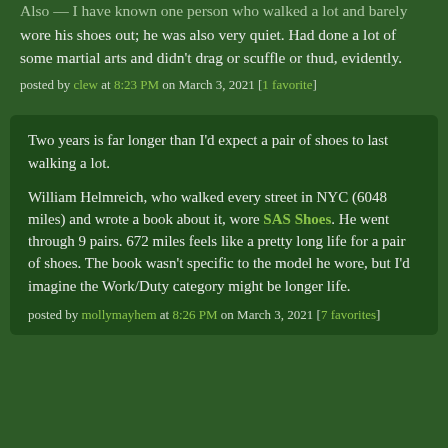Also — I have known one person who walked a lot and barely wore his shoes out; he was also very quiet. Had done a lot of some martial arts and didn't drag or scuffle or thud, evidently.
posted by clew at 8:23 PM on March 3, 2021 [1 favorite]
Two years is far longer than I'd expect a pair of shoes to last walking a lot.

William Helmreich, who walked every street in NYC (6048 miles) and wrote a book about it, wore SAS Shoes. He went through 9 pairs. 672 miles feels like a pretty long life for a pair of shoes. The book wasn't specific to the model he wore, but I'd imagine the Work/Duty category might be longer life.
posted by mollymayhem at 8:26 PM on March 3, 2021 [7 favorites]